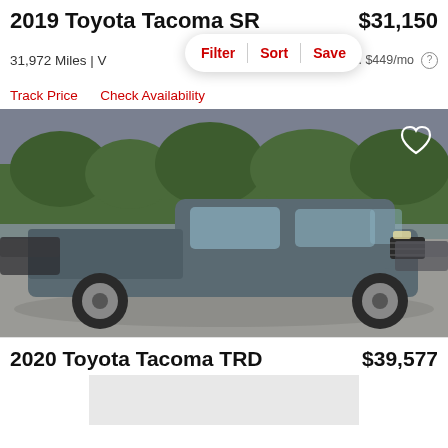2019 Toyota Tacoma SR
$31,150
31,972 Miles | V
est. $449/mo
Filter  Sort  Save
Track Price    Check Availability
[Figure (photo): 2019 Toyota Tacoma SR gray pickup truck parked in a dealership lot, side profile view, with trees and other cars in background]
2020 Toyota Tacoma TRD
$39,577